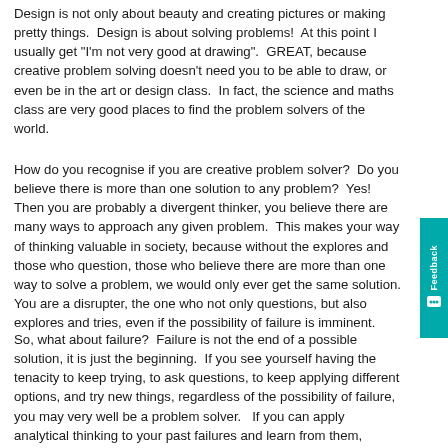Design is not only about beauty and creating pictures or making pretty things.  Design is about solving problems!  At this point I usually get "I'm not very good at drawing".  GREAT, because creative problem solving doesn't need you to be able to draw, or even be in the art or design class.  In fact, the science and maths class are very good places to find the problem solvers of the world.
How do you recognise if you are creative problem solver?  Do you believe there is more than one solution to any problem?  Yes!  Then you are probably a divergent thinker, you believe there are many ways to approach any given problem.  This makes your way of thinking valuable in society, because without the explores and those who question, those who believe there are more than one way to solve a problem, we would only ever get the same solution.  You are a disrupter, the one who not only questions, but also explores and tries, even if the possibility of failure is imminent.
So, what about failure?  Failure is not the end of a possible solution, it is just the beginning.  If you see yourself having the tenacity to keep trying, to ask questions, to keep applying different options, and try new things, regardless of the possibility of failure, you may very well be a problem solver.   If you can apply analytical thinking to your past failures and learn from them, chances are you are a design thinker.